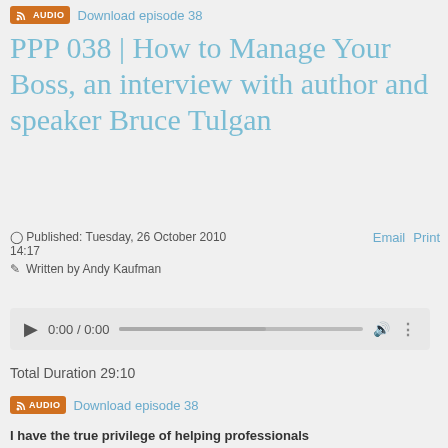Download episode 38
PPP 038 | How to Manage Your Boss, an interview with author and speaker Bruce Tulgan
Published: Tuesday, 26 October 2010 14:17
Written by Andy Kaufman
[Figure (other): Audio player with play button, time display 0:00 / 0:00, progress bar, volume and more controls]
Total Duration 29:10
Download episode 38
I have the true privilege of helping professionals